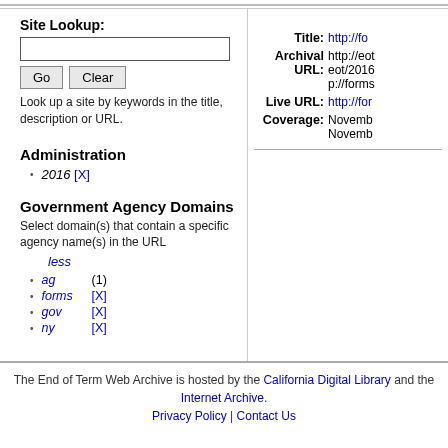Site Lookup:
Look up a site by keywords in the title, description or URL.
Administration
2016 [X]
Government Agency Domains
Select domain(s) that contain a specific agency name(s) in the URL
ag (1)
forms [X]
gov [X]
ny [X]
Title: http://fo
Archival URL: http://eot eot/2016 p://forms
Live URL: http://for
Coverage: Novemb Novemb
The End of Term Web Archive is hosted by the California Digital Library and the Internet Archive. Privacy Policy | Contact Us